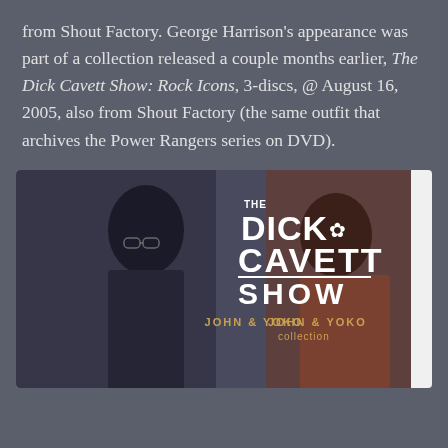from Shout Factory. George Harrison's appearance was part of a collection released a couple months earlier, The Dick Cavett Show: Rock Icons, 3-discs, @ August 16, 2005, also from Shout Factory (the same outfit that archives the Power Rangers series on DVD).
[Figure (photo): DVD cover of The Dick Cavett Show: John & Yoko Collection, showing two people seated — one with glasses on the left, one on the right — with the show logo and 'JOHN & YOKO collection' text prominently displayed.]